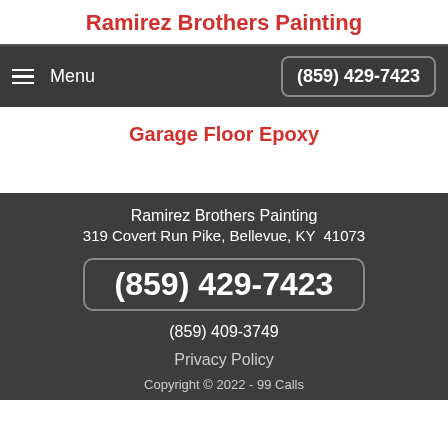Ramirez Brothers Painting
Menu  (859) 429-7423
Garage Floor Epoxy
Ramirez Brothers Painting
319 Covert Run Pike, Bellevue, KY  41073
(859) 429-7423
(859) 409-3749
Privacy Policy
Copyright © 2022 - 99 Calls